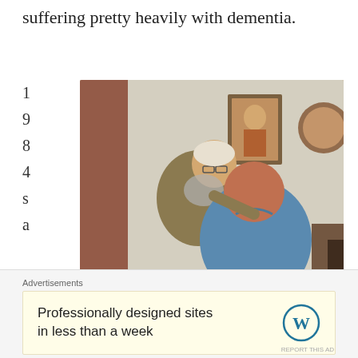suffering pretty heavily with dementia.
[Figure (photo): Vintage photograph from 1984 showing an elderly woman with glasses leaning her head on a bald man in a blue shirt, both seated indoors with a framed portrait on the wall behind them.]
1984 sa
Advertisements
Professionally designed sites in less than a week